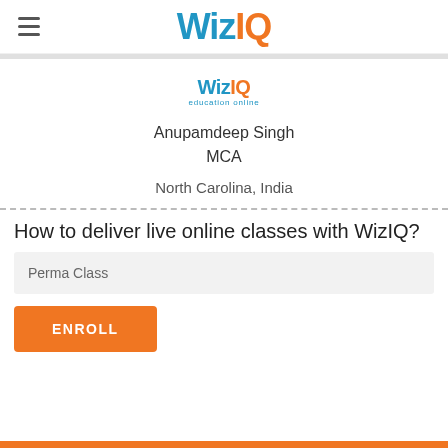WizIQ
[Figure (logo): WizIQ education online logo, small centered version]
Anupamdeep Singh
MCA
North Carolina, India
How to deliver live online classes with WizIQ?
Perma Class
ENROLL